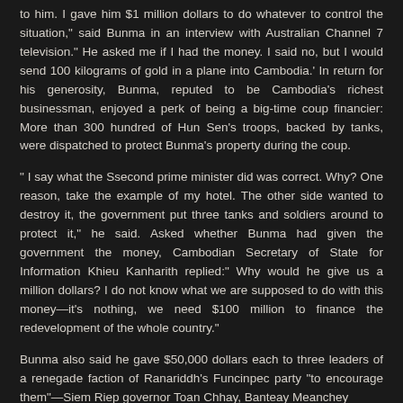to him. I gave him $1 million dollars to do whatever to control the situation," said Bunma in an interview with Australian Channel 7 television." He asked me if I had the money. I said no, but I would send 100 kilograms of gold in a plane into Cambodia.' In return for his generosity, Bunma, reputed to be Cambodia's richest businessman, enjoyed a perk of being a big-time coup financier: More than 300 hundred of Hun Sen's troops, backed by tanks, were dispatched to protect Bunma's property during the coup.
" I say what the Ssecond prime minister did was correct. Why? One reason, take the example of my hotel. The other side wanted to destroy it, the government put three tanks and soldiers around to protect it," he said. Asked whether Bunma had given the government the money, Cambodian Secretary of State for Information Khieu Kanharith replied:" Why would he give us a million dollars? I do not know what we are supposed to do with this money—it's nothing, we need $100 million to finance the redevelopment of the whole country."
Bunma also said he gave $50,000 dollars each to three leaders of a renegade faction of Ranariddh's Funcinpec party "to encourage them"—Siem Riep governor Toan Chhay, Banteay Meanchey province governor Pros Khun, and Minister of State Hor Pha...